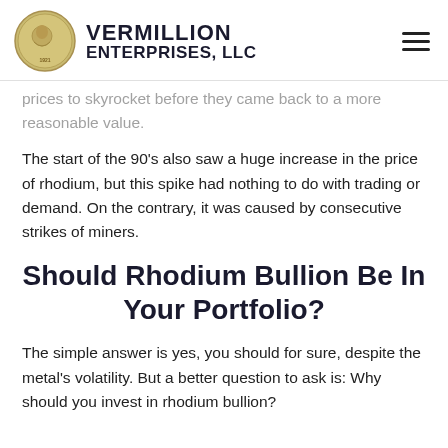VERMILLION ENTERPRISES, LLC
prices to skyrocket before they came back to a more reasonable value.
The start of the 90's also saw a huge increase in the price of rhodium, but this spike had nothing to do with trading or demand. On the contrary, it was caused by consecutive strikes of miners.
Should Rhodium Bullion Be In Your Portfolio?
The simple answer is yes, you should for sure, despite the metal's volatility. But a better question to ask is: Why should you invest in rhodium bullion?